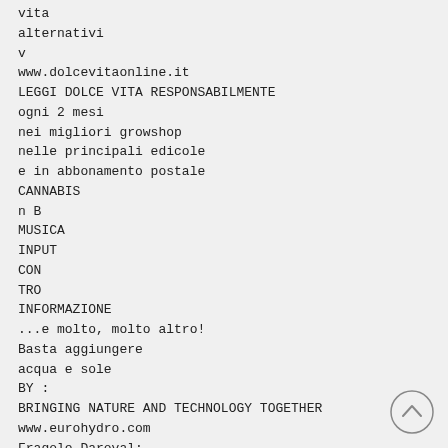vita
alternativi
v
www.dolcevitaonline.it
LEGGI DOLCE VITA RESPONSABILMENTE
ogni 2 mesi
nei migliori growshop
nelle principali edicole
e in abbonamento postale
CANNABIS
n B
MUSICA
INPUT
CON
TRO
INFORMAZIONE
...e molto, molto altro!
Basta aggiungere
acqua e sole
BY :
BRINGING NATURE AND TECHNOLOGY TOGETHER
www.eurohydro.com
Fragole Daroyal:
coltivate a Fleurance
in un AcroFlo 28
[Figure (other): Circular back-to-top button with an upward chevron arrow]